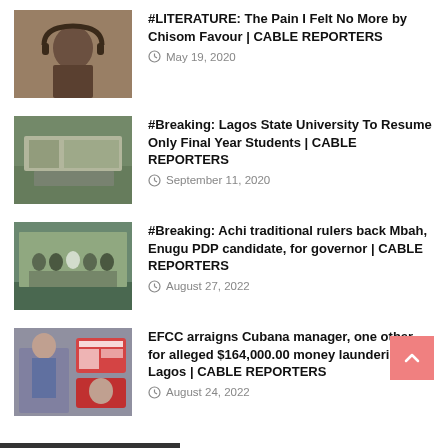[Figure (photo): Thumbnail image for literature article, person with headphones]
#LITERATURE: The Pain I Felt No More by Chisom Favour | CABLE REPORTERS
May 19, 2020
[Figure (photo): Thumbnail image of university building/campus]
#Breaking: Lagos State University To Resume Only Final Year Students | CABLE REPORTERS
September 11, 2020
[Figure (photo): Thumbnail image of traditional rulers group photo]
#Breaking: Achi traditional rulers back Mbah, Enugu PDP candidate, for governor | CABLE REPORTERS
August 27, 2022
[Figure (photo): Thumbnail image related to EFCC arraignment, suspect and ID card]
EFCC arraigns Cubana manager, one other for alleged $164,000.00 money laundering in Lagos | CABLE REPORTERS
August 24, 2022